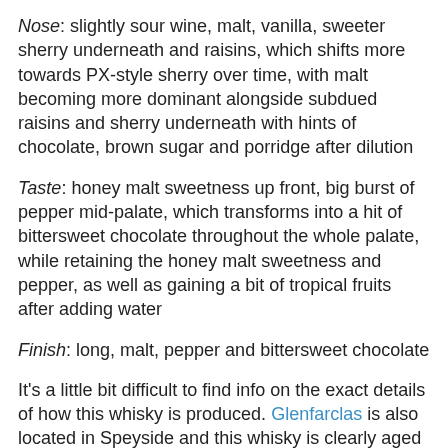Nose: slightly sour wine, malt, vanilla, sweeter sherry underneath and raisins, which shifts more towards PX-style sherry over time, with malt becoming more dominant alongside subdued raisins and sherry underneath with hints of chocolate, brown sugar and porridge after dilution
Taste: honey malt sweetness up front, big burst of pepper mid-palate, which transforms into a hit of bittersweet chocolate throughout the whole palate, while retaining the honey malt sweetness and pepper, as well as gaining a bit of tropical fruits after adding water
Finish: long, malt, pepper and bittersweet chocolate
It's a little bit difficult to find info on the exact details of how this whisky is produced. Glenfarclas is also located in Speyside and this whisky is clearly aged in ex-sherry barrels, but I haven't been able to figure out what type of sherry used to reside in the barrels. It is bottled at 105 British proof, which is the same as 120-proof or 60% ABV in the usual sense. As with all of these whiskies, there is no age statement, but all sources agree that all of the above...